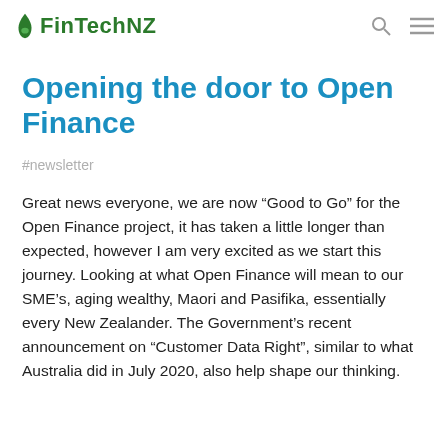FinTechNZ
Opening the door to Open Finance
#newsletter
Great news everyone, we are now “Good to Go” for the Open Finance project, it has taken a little longer than expected, however I am very excited as we start this journey. Looking at what Open Finance will mean to our SME’s, aging wealthy, Maori and Pasifika, essentially every New Zealander. The Government’s recent announcement on “Customer Data Right”, similar to what Australia did in July 2020, also help shape our thinking.